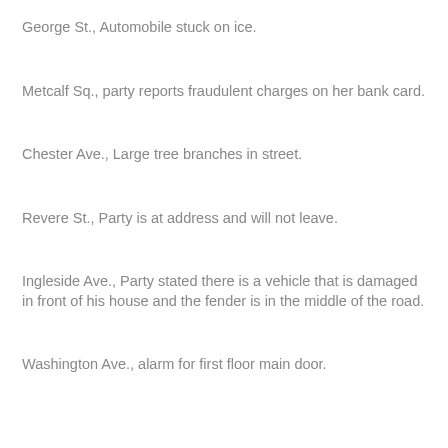George St., Automobile stuck on ice.
Metcalf Sq., party reports fraudulent charges on her bank card.
Chester Ave., Large tree branches in street.
Revere St., Party is at address and will not leave.
Ingleside Ave., Party stated there is a vehicle that is damaged in front of his house and the fender is in the middle of the road.
Washington Ave., alarm for first floor main door.